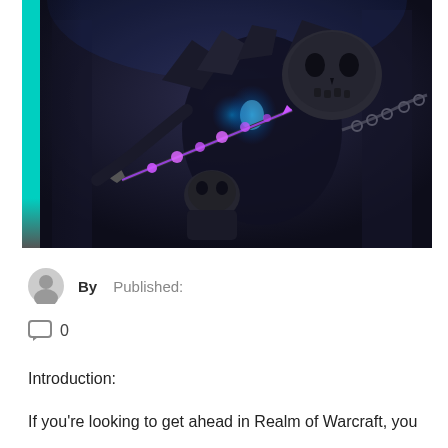[Figure (illustration): Dark fantasy video game art showing an armored undead/skeletal warrior creature with glowing blue elements, chains, and a purple magical arrow or lance. The character appears to be from World of Warcraft, depicted in a dark, gothic style with skull motifs.]
By   Published:
0
Introduction:
If you're looking to get ahead in Realm of Warcraft, you